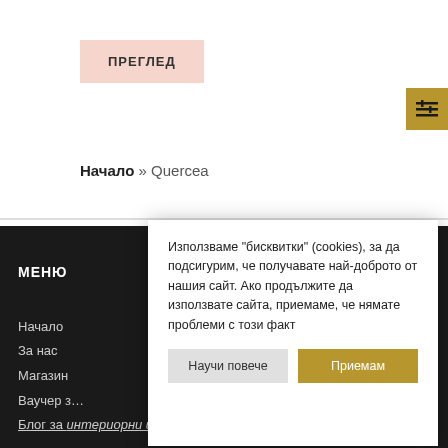ПРЕГЛЕД
Начало » Quercea
МЕНЮ
Начало
За нас
Магазин
Ваучер за
Блог за интериорни идеи и решения
Използваме "бисквитки" (cookies), за да подсигурим, че получавате най-доброто от нашия сайт. Ако продължите да използвате сайта, приемаме, че нямате проблеми с този факт
Научи повече
Приемам